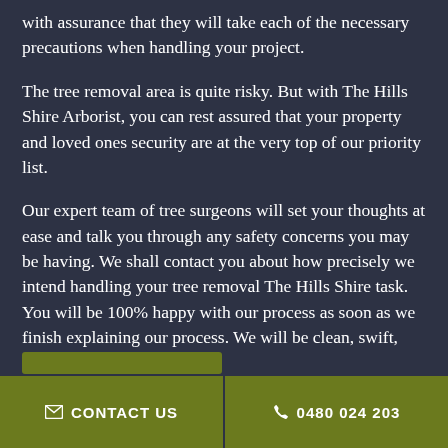with assurance that they will take each of the necessary precautions when handling your project.
The tree removal area is quite risky. But with The Hills Shire Arborist, you can rest assured that your property and loved ones security are at the very top of our priority list.
Our expert team of tree surgeons will set your thoughts at ease and talk you through any safety concerns you may be having. We shall contact you about how precisely we intend handling your tree removal The Hills Shire task. You will be 100% happy with our process as soon as we finish explaining our process. We will be clean, swift, courteous, and thorough.
CONTACT US   0480 024 203